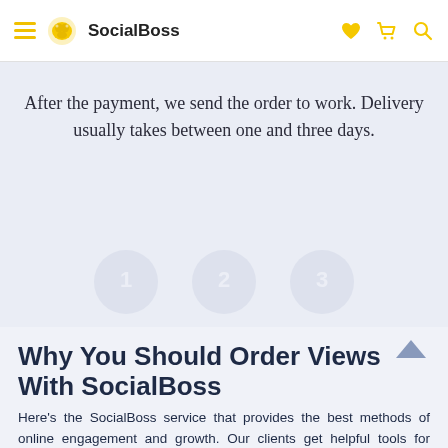SocialBoss
After the payment, we send the order to work. Delivery usually takes between one and three days.
Why You Should Order Views With SocialBoss
Here’s the SocialBoss service that provides the best methods of online engagement and growth. Our clients get helpful tools for instant social media account prosperity. Don’t waste your